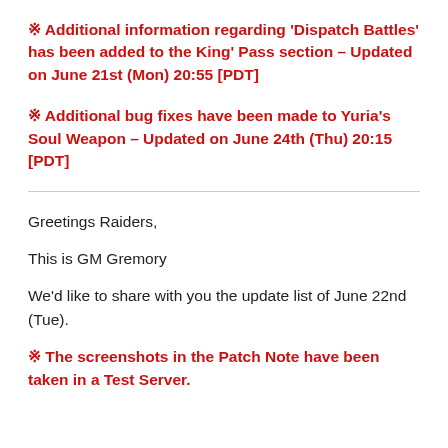※ Additional information regarding 'Dispatch Battles' has been added to the King' Pass section – Updated on June 21st (Mon) 20:55 [PDT]
※ Additional bug fixes have been made to Yuria's Soul Weapon – Updated on June 24th (Thu) 20:15 [PDT]
Greetings Raiders,
This is GM Gremory
We'd like to share with you the update list of June 22nd (Tue).
※ The screenshots in the Patch Note have been taken in a Test Server.